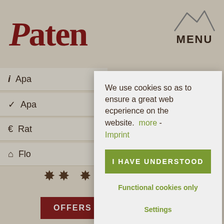Paten
[Figure (illustration): Mountain peaks line SVG icon above MENU label]
MENU
i  Apa
✓  Apa
€  Rat
⌂  Flo
We use cookies so as to ensure a great web ecperience on the website.  more - Imprint
I HAVE UNDERSTOOD
Functional cookies only
Settings
OFFERS
REQUEST